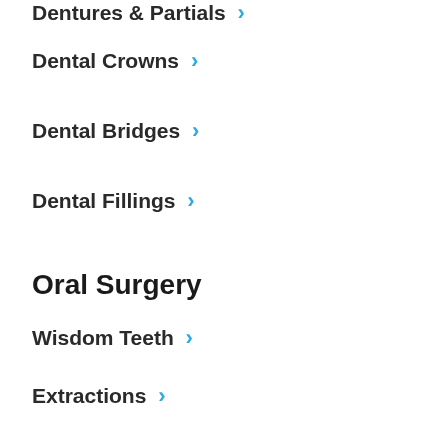Dentures & Partials
Dental Crowns
Dental Bridges
Dental Fillings
Oral Surgery
Wisdom Teeth
Extractions
Emergency Dentist
Preventive
Exams & Cleanings
Digital X-Rays